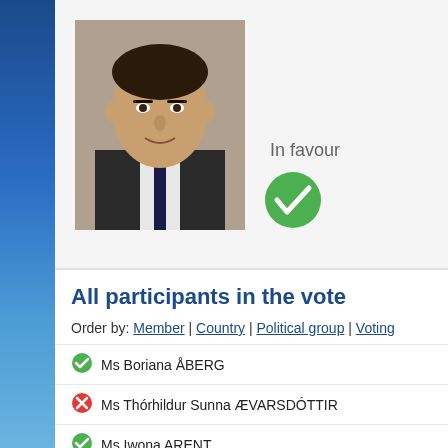[Figure (photo): Headshot photo of a man in a dark suit and tie]
In favour
All participants in the vote
Order by: Member | Country | Political group | Voting
Ms Boriana ÅBERG
Ms Thórhildur Sunna ÆVARSDÓTTIR
Ms Iwona ARENT
Mr Volodymyr ARIEV
Mr Marek AST